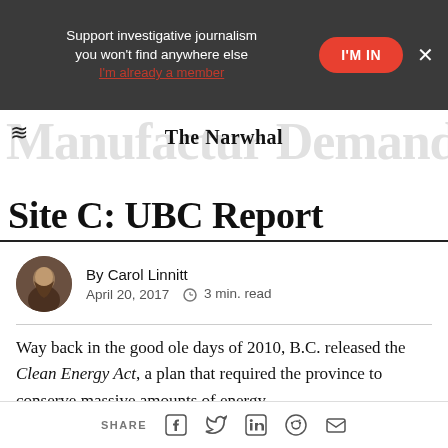Support investigative journalism you won't find anywhere else
I'M IN
I'm already a member
Manufacturers Demand and for Site C: UBC Report
By Carol Linnitt
April 20, 2017  3 min. read
Way back in the good ole days of 2010, B.C. released the Clean Energy Act, a plan that required the province to conserve massive amounts of energy.
SHARE